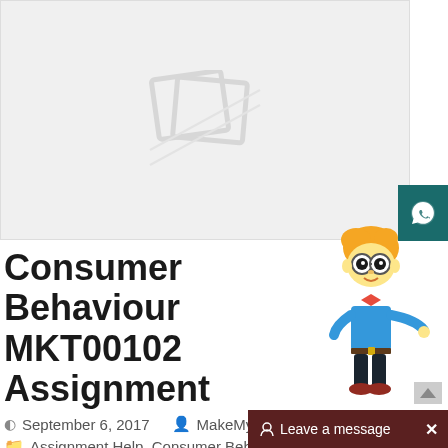[Figure (illustration): Broken image placeholder with grey background and diagonal lines]
[Figure (illustration): Cartoon character of a student/nerd with glasses, orange hair, blue shirt, red bow tie, and jeans]
Consumer Behaviour MKT00102 Assignment
September 6, 2017   MakeMyAssignments.com
Assignment Help, Consumer Behavior Assignment Help
Consumer Behaviou